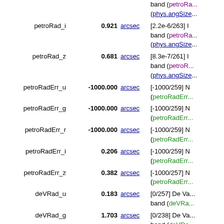| Name | Value | Unit | Description |
| --- | --- | --- | --- |
|  |  |  | band (petroRa... (phys.angSize... |
| petroRad_i | 0.921 | arcsec | [2.2e-6/263] ... band (petroRa... (phys.angSize... |
| petroRad_z | 0.681 | arcsec | [8.3e-7/261] ... band (petroR... (phys.angSize... |
| petroRadErr_u | -1000.000 | arcsec | [-1000/259] N... (petroRadErr... |
| petroRadErr_g | -1000.000 | arcsec | [-1000/259] N... (petroRadErr... |
| petroRadErr_r | -1000.000 | arcsec | [-1000/259] N... (petroRadErr... |
| petroRadErr_i | 0.206 | arcsec | [-1000/259] N... (petroRadErr... |
| petroRadErr_z | 0.382 | arcsec | [-1000/257] N... (petroRadErr... |
| deVRad_u | 0.183 | arcsec | [0/257] De Va... band (deVRa... |
| deVRad_g | 1.703 | arcsec | [0/238] De Va... band (deVRa... |
| deVRad_r | 0.037 | arcsec | [0/238] De Va... |